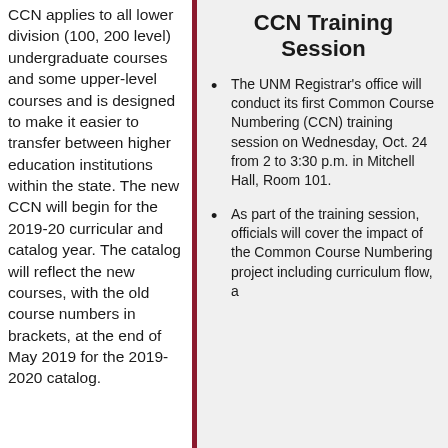CCN applies to all lower division (100, 200 level) undergraduate courses and some upper-level courses and is designed to make it easier to transfer between higher education institutions within the state. The new CCN will begin for the 2019-20 curricular and catalog year. The catalog will reflect the new courses, with the old course numbers in brackets, at the end of May 2019 for the 2019-2020 catalog.
CCN Training Session
The UNM Registrar's office will conduct its first Common Course Numbering (CCN) training session on Wednesday, Oct. 24 from 2 to 3:30 p.m. in Mitchell Hall, Room 101.
As part of the training session, officials will cover the impact of the Common Course Numbering project including curriculum flow, a